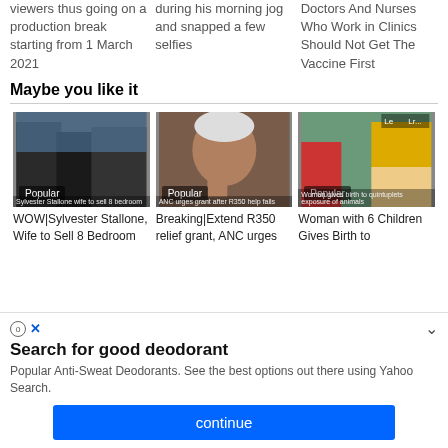viewers thus going on a production break starting from 1 March 2021
during his morning jog and snapped a few selfies
Doctors And Nurses Who Work in Clinics Should Not Get The Vaccine First
Maybe you like it
[Figure (photo): WOW|Sylvester Stallone, Wife to Sell 8 Bedroom - Popular badge overlay]
WOW|Sylvester Stallone, Wife to Sell 8 Bedroom
[Figure (photo): Breaking|Extend R350 relief grant, ANC urges - Popular badge overlay]
Breaking|Extend R350 relief grant, ANC urges
[Figure (photo): Woman with 6 Children Gives Birth to - Popular badge overlay]
Woman with 6 Children Gives Birth to
Search for good deodorant
Popular Anti-Sweat Deodorants. See the best options out there using Yahoo Search.
continue